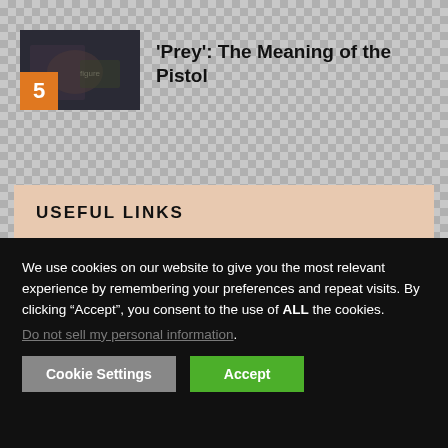'Prey': The Meaning of the Pistol
USEFUL LINKS
Fair Use Disclaimer
Terms and Conditions
We use cookies on our website to give you the most relevant experience by remembering your preferences and repeat visits. By clicking “Accept”, you consent to the use of ALL the cookies. Do not sell my personal information.